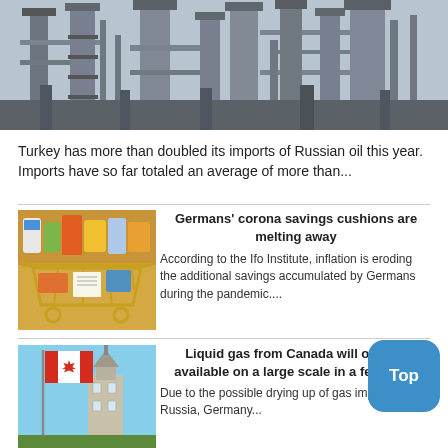[Figure (photo): Black and white photo of an industrial oil refinery plant with pipes and towers]
Turkey has more than doubled its imports of Russian oil this year. Imports have so far totaled an average of more than...
[Figure (photo): Shopping cart filled with groceries and products]
Germans' corona savings cushions are melting away
According to the Ifo Institute, inflation is eroding the additional savings accumulated by Germans during the pandemic....
[Figure (photo): Canadian flag in front of a building with a tower, blue sky]
Liquid gas from Canada will only be available on a large scale in a few yea...
Due to the possible drying up of gas imports from Russia, Germany...